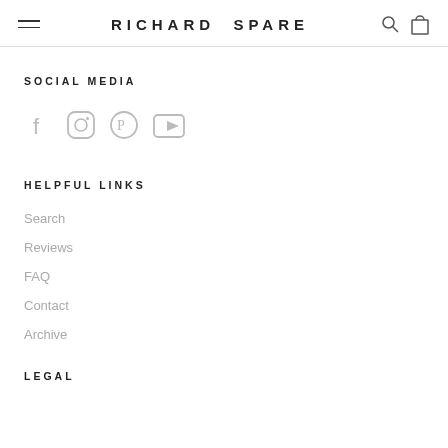RICHARD SPARE
SOCIAL MEDIA
[Figure (illustration): Social media icons: Facebook, Instagram, Pinterest, YouTube]
HELPFUL LINKS
Search
Reviews
FAQ
Contact
Archive
LEGAL